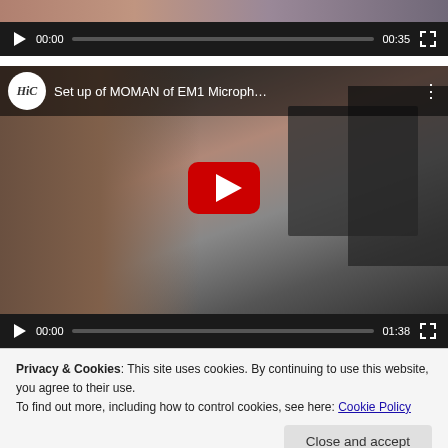[Figure (screenshot): Video player controls bar at top: play button, time 00:00, progress bar, duration 00:35, fullscreen icon]
[Figure (screenshot): YouTube embedded video thumbnail showing a woman in black with a microphone absorber panel and laptop on a desk. Title: Set up of MOMAN of EM1 Microph... Channel logo HiC. Red YouTube play button in center. Video controls bar at bottom: play, 00:00, progress bar, 01:38, fullscreen icon.]
Privacy & Cookies: This site uses cookies. By continuing to use this website, you agree to their use.
To find out more, including how to control cookies, see here: Cookie Policy
Close and accept
[Figure (screenshot): Small thumbnail image at bottom left and 'Information' text label to the right]